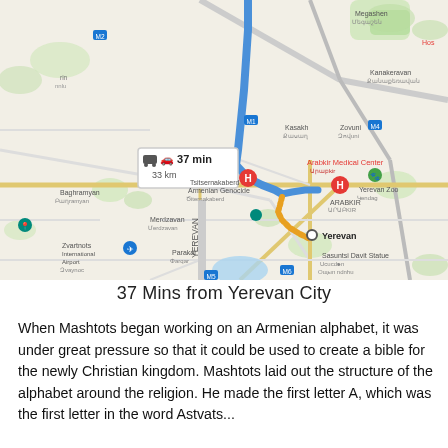[Figure (map): Google Maps screenshot showing a route from a northern point to Yerevan City, Armenia. A blue route line runs south along a highway into Yerevan. A route info box shows '37 min / 33 km'. Orange dotted route segment near Yerevan center. Red markers labeled H for hospitals. Green marker for Yerevan Zoo. Location pin for Yerevan. Place names include Megashen, Kanakeravan, Kasakh, Arabkir Medical Center, Arabkir, Tsitsernakaberd Armenian Genocide, Baghramyan, Merdzavan, Parakar, Zvartnots International Airport, Yerevan label on road, Sasuntsi Davit Statue, and others in Armenian script.]
37 Mins from Yerevan City
When Mashtots began working on an Armenian alphabet, it was under great pressure so that it could be used to create a bible for the newly Christian kingdom. Mashtots laid out the structure of the alphabet around the religion. He made the first letter A, which was the first letter in the word Astvats...